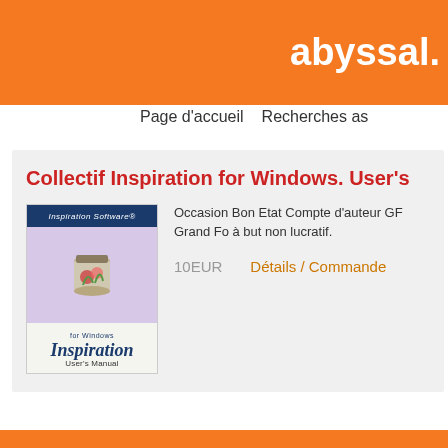abyssal.
Page d'accueil    Recherches as
Collectif Inspiration for Windows. User's
[Figure (photo): Book cover of Inspiration for Windows User's Manual, showing the Inspiration software branding with a jar illustration on a purple background]
Occasion Bon Etat Compte d'auteur GF Grand Fo à but non lucratif.
10EUR    Détails / Commande